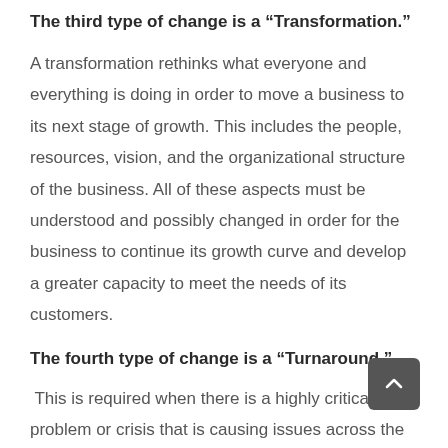The third type of change is a “Transformation.”
A transformation rethinks what everyone and everything is doing in order to move a business to its next stage of growth. This includes the people, resources, vision, and the organizational structure of the business. All of these aspects must be understood and possibly changed in order for the business to continue its growth curve and develop a greater capacity to meet the needs of its customers.
The fourth type of change is a “Turnaround.”
This is required when there is a highly critical problem or crisis that is causing issues across the entire business.